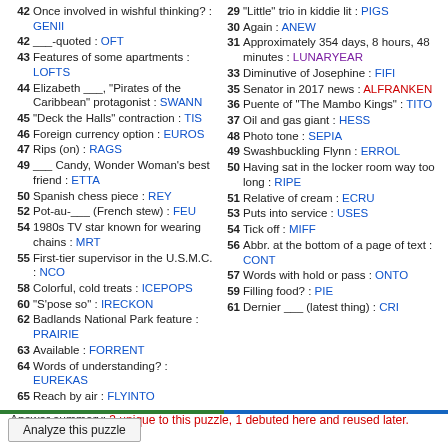42 Once involved in wishful thinking? : GENII
42 ___-quoted : OFT
43 Features of some apartments : LOFTS
44 Elizabeth ___, "Pirates of the Caribbean" protagonist : SWANN
45 "Deck the Halls" contraction : TIS
46 Foreign currency option : EUROS
47 Rips (on) : RAGS
49 ___ Candy, Wonder Woman's best friend : ETTA
50 Spanish chess piece : REY
52 Pot-au-___ (French stew) : FEU
54 1980s TV star known for wearing chains : MRT
55 First-tier supervisor in the U.S.M.C. : NCO
58 Colorful, cold treats : ICEPOPS
60 "S'pose so" : IRECKON
62 Badlands National Park feature : PRAIRIE
63 Available : FORRENT
64 Words of understanding? : EUREKAS
65 Reach by air : FLYINTO
29 "Little" trio in kiddie lit : PIGS
30 Again : ANEW
31 Approximately 354 days, 8 hours, 48 minutes : LUNARYEAR
33 Diminutive of Josephine : FIFI
35 Senator in 2017 news : ALFRANKEN
36 Puente of "The Mambo Kings" : TITO
37 Oil and gas giant : HESS
48 Photo tone : SEPIA
49 Swashbuckling Flynn : ERROL
50 Having sat in the locker room way too long : RIPE
51 Relative of cream : ECRU
53 Puts into service : USES
54 Tick off : MIFF
56 Abbr. at the bottom of a page of text : CONT
57 Words with hold or pass : ONTO
59 Filling food? : PIE
61 Dernier ___ (latest thing) : CRI
Answer summary: 3 unique to this puzzle, 1 debuted here and reused later.